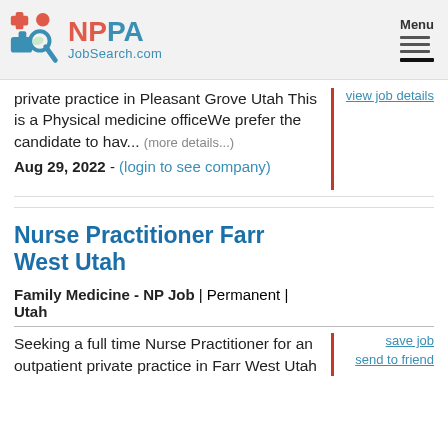NPPA JobSearch.com | Menu
private practice in Pleasant Grove Utah This is a Physical medicine officeWe prefer the candidate to hav... (more details...)
Aug 29, 2022 - (login to see company)
view job details
Nurse Practitioner Farr West Utah
Family Medicine - NP Job | Permanent | Utah
Seeking a full time Nurse Practitioner for an outpatient private practice in Farr West Utah
save job
send to friend